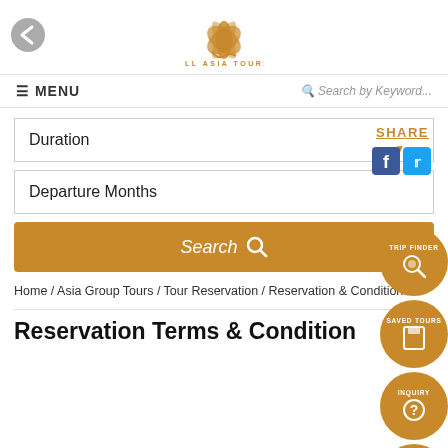[Figure (logo): All Asia Tours lotus flower logo with golden text ALL ASIA TOURS]
≡ MENU    Search by Keyword...
Duration
Departure Months
Search
Home / Asia Group Tours / Tour Reservation / Reservation & Conditions
Reservation Terms & Conditions